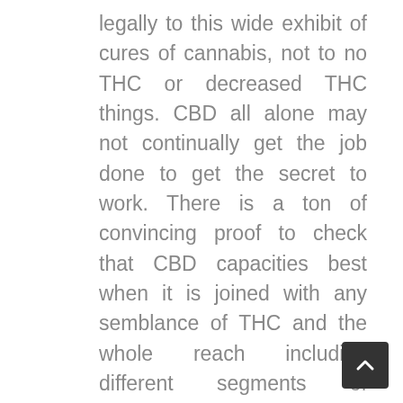legally to this wide exhibit of cures of cannabis, not to no THC or decreased THC things. CBD all alone may not continually get the job done to get the secret to work. There is a ton of convincing proof to check that CBD capacities best when it is joined with any semblance of THC and the whole reach including different segments of cannabis.
To have the option to sort out some way to approach streamlining your remedial use of cannabis has really been the motoring angle that slacks among the best trials in the times of opportunity. The aftereffect of this looking for is called clinical cannabis and it has been seen from one state to one more and furthermore one nation to another in the truly late years. The turning up of the extremely strong oil concentrates of cannabis, for CBD plentiful non